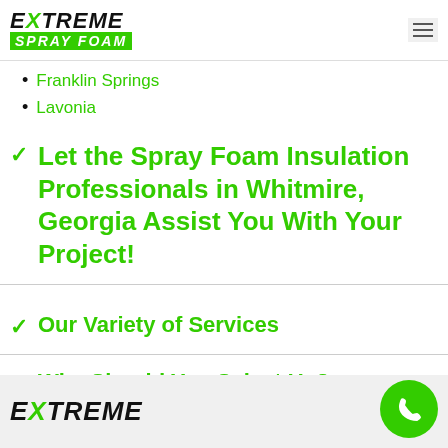Extreme Spray Foam
Franklin Springs
Lavonia
Let the Spray Foam Insulation Professionals in Whitmire, Georgia Assist You With Your Project!
Our Variety of Services
Why Should You Select Us?
[Figure (logo): Extreme Spray Foam footer logo]